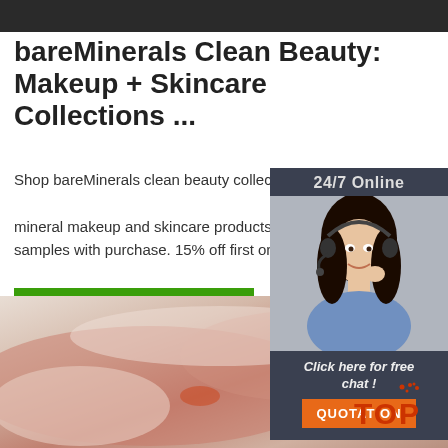[Figure (photo): Dark grey top banner strip]
bareMinerals Clean Beauty: Makeup + Skincare Collections ...
Shop bareMinerals clean beauty collection. Award-winning mineral makeup and skincare products you trust. Free samples with purchase. 15% off first order.
[Figure (infographic): Green 'Get Price' button]
[Figure (infographic): Right sidebar with '24/7 Online' text, photo of woman with headset, 'Click here for free chat!' text, and orange QUOTATION button]
[Figure (photo): Bottom photo showing raw meat/poultry product, pinkish-red tones]
[Figure (logo): TOP logo in red/orange at bottom right]